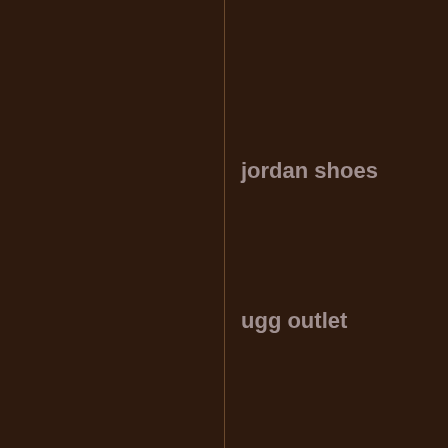jordan shoes
ugg outlet
michael kors ou
michael kors ou